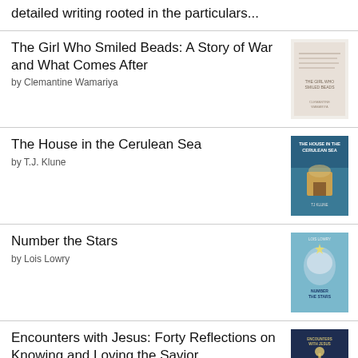detailed writing rooted in the particulars...
The Girl Who Smiled Beads: A Story of War and What Comes After
by Clemantine Wamariya
The House in the Cerulean Sea
by T.J. Klune
Number the Stars
by Lois Lowry
Encounters with Jesus: Forty Reflections on Knowing and Loving the Savior
by JR Hudberg
Each reflection invites the reader to experience an interaction with Jesus in the gospels through the character's eyes. What